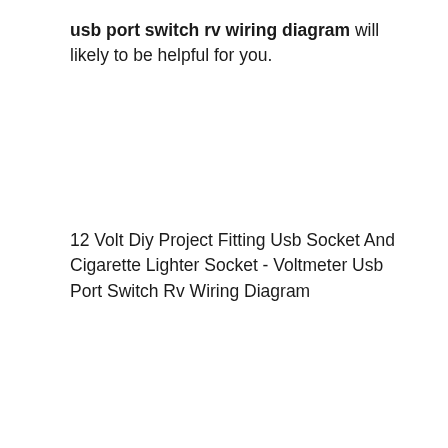usb port switch rv wiring diagram will likely to be helpful for you.
12 Volt Diy Project Fitting Usb Socket And Cigarette Lighter Socket - Voltmeter Usb Port Switch Rv Wiring Diagram